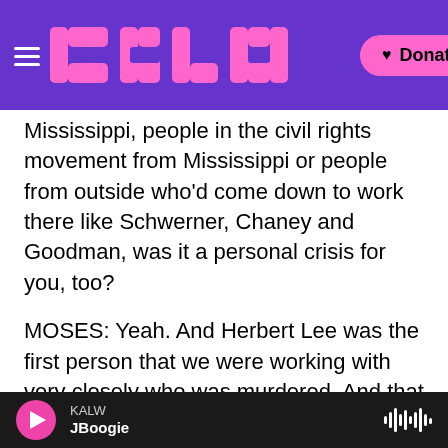KALW logo with hamburger menu and Donate button
Mississippi, people in the civil rights movement from Mississippi or people from outside who'd come down to work there like Schwerner, Chaney and Goodman, was it a personal crisis for you, too?
MOSES: Yeah. And Herbert Lee was the first person that we were working with very closely who was murdered. And that was in the first summer when we went down. And I guess the only way in which we could sort of live through it was to say, well, we're going to live our lives and go through the same kind of danger that led to his being
KALW | JBoogie